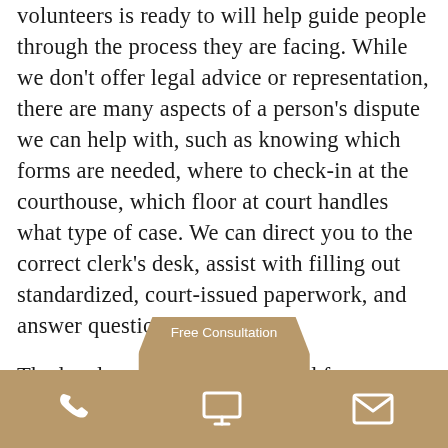volunteers is ready to will help guide people through the process they are facing. While we don't offer legal advice or representation, there are many aspects of a person's dispute we can help with, such as knowing which forms are needed, where to check-in at the courthouse, which floor at court handles what type of case. We can direct you to the correct clerk's desk, assist with filling out standardized, court-issued paperwork, and answer questions.
The legal process isn't easy. And for many people, the civil dispute they find themselves in is one of the most important thi... r handled. It
[Figure (other): Tan/brown footer navigation bar with phone icon, monitor/screen icon, and envelope icon in white. An overlapping tab showing 'Free Consultation' in white text on the same tan background.]